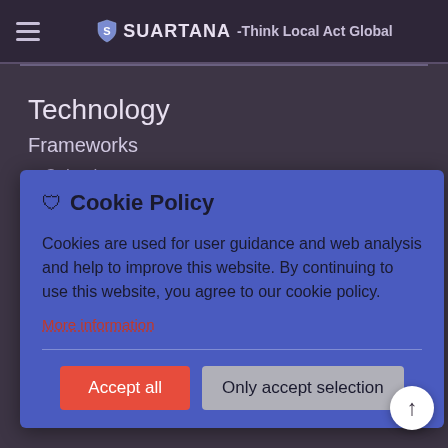SUARTANA -Think Local Act Global
Technology
Frameworks
Cakephp
Extjs
Database
Oracle & SQL
API
Json & XML
[Figure (screenshot): Cookie Policy popup overlay with title 'Cookie Policy', body text about cookies, a red 'More information' link, 'Accept all' button in red and 'Only accept selection' button in grey]
Cookie Policy
Cookies are used for user guidance and web analysis and help to improve this website. By continuing to use this website, you agree to our cookie policy.
More information
Accept all
Only accept selection